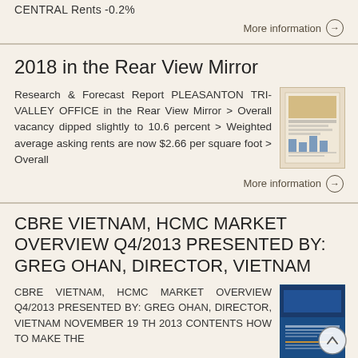CENTRAL Rents -0.2%
More information →
2018 in the Rear View Mirror
Research & Forecast Report PLEASANTON TRI-VALLEY OFFICE in the Rear View Mirror > Overall vacancy dipped slightly to 10.6 percent > Weighted average asking rents are now $2.66 per square foot > Overall
[Figure (photo): Thumbnail image of a research report document]
More information →
CBRE VIETNAM, HCMC MARKET OVERVIEW Q4/2013 PRESENTED BY: GREG OHAN, DIRECTOR, VIETNAM
CBRE VIETNAM, HCMC MARKET OVERVIEW Q4/2013 PRESENTED BY: GREG OHAN, DIRECTOR, VIETNAM NOVEMBER 19 TH 2013 CONTENTS HOW TO MAKE THE
[Figure (photo): Thumbnail image of CBRE Vietnam report with blue cover]